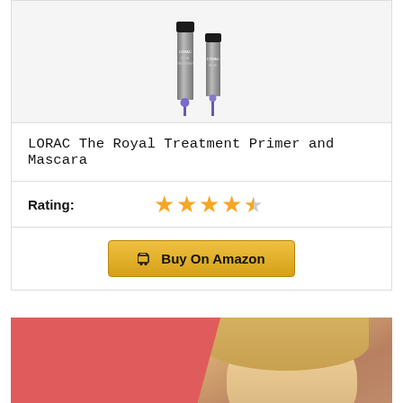[Figure (photo): LORAC The Royal Treatment Primer and Mascara product image - two mascara tubes with purple/black wands]
LORAC The Royal Treatment Primer and Mascara
Rating: ★★★★½
Buy On Amazon
[Figure (photo): Banner with coral/red background on left side and photo of blonde woman applying mascara on right side]
Complete List of Best